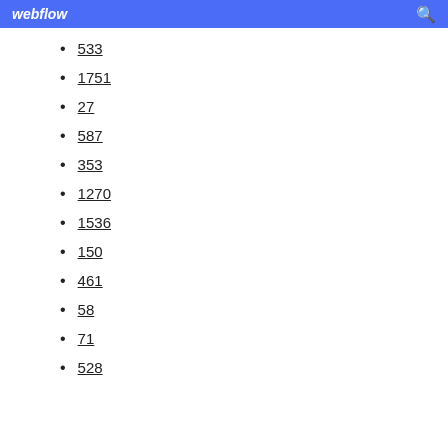webflow
533
1751
27
587
353
1270
1536
150
461
58
71
528